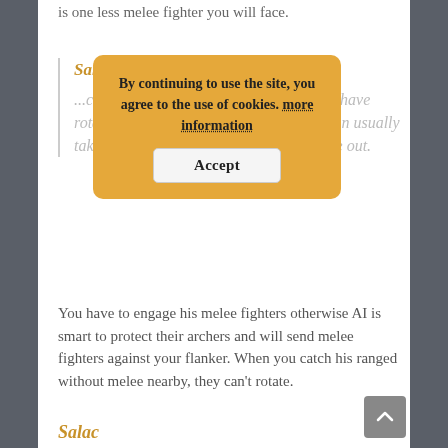is one less melee fighter you will face.
By continuing to use the site, you agree to the use of cookies. more information
Accept
Salachwele:
...crossbowshen lack mentioned that they have rotation. The AI is smart and crossbowmen usually take cover. When caught, they often rotate out.
You have to engage his melee fighters otherwise AI is smart to protect their archers and will send melee fighters against your flanker. When you catch his ranged without melee nearby, they can't rotate.